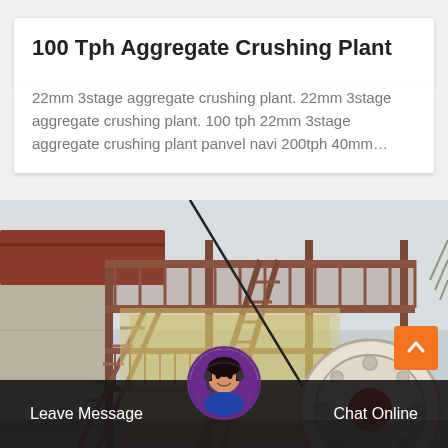100 Tph Aggregate Crushing Plant
22mm 3stage aggregate crushing plant. 22mm 3stage aggregate crushing plant. 100 tph 22mm 3stage aggregate crushing plant panvel navi 200tph 40mm…
[Figure (photo): Industrial aggregate crushing plant machinery with metal staircases, red steel framework structure, large circular crusher flywheel, and a blue Chinese sign in the background.]
Leave Message
Chat Online